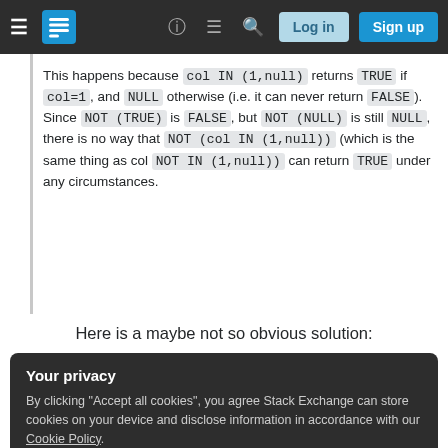Stack Exchange navigation bar with Log in and Sign up buttons
This happens because col IN (1,null) returns TRUE if col=1, and NULL otherwise (i.e. it can never return FALSE). Since NOT (TRUE) is FALSE, but NOT (NULL) is still NULL, there is no way that NOT (col IN (1,null)) (which is the same thing as col NOT IN (1,null)) can return TRUE under any circumstances.
Here is a maybe not so obvious solution:
Your privacy
By clicking "Accept all cookies", you agree Stack Exchange can store cookies on your device and disclose information in accordance with our Cookie Policy.
Accept all cookies  Customize settings